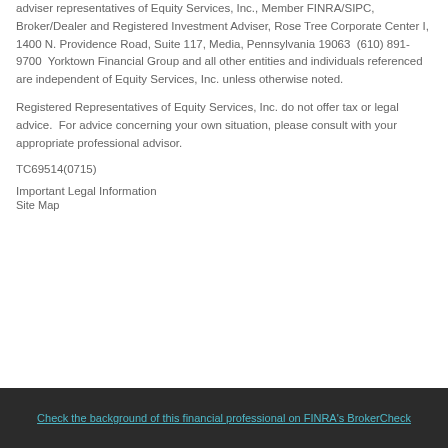adviser representatives of Equity Services, Inc., Member FINRA/SIPC,  Broker/Dealer and Registered Investment Adviser, Rose Tree Corporate Center I, 1400 N. Providence Road, Suite 117, Media, Pennsylvania 19063  (610) 891-9700  Yorktown Financial Group and all other entities and individuals referenced are independent of Equity Services, Inc. unless otherwise noted.
Registered Representatives of Equity Services, Inc. do not offer tax or legal advice.  For advice concerning your own situation, please consult with your appropriate professional advisor.
TC69514(0715)
Important Legal Information
Site Map
Check the background of this financial professional on FINRA's BrokerCheck